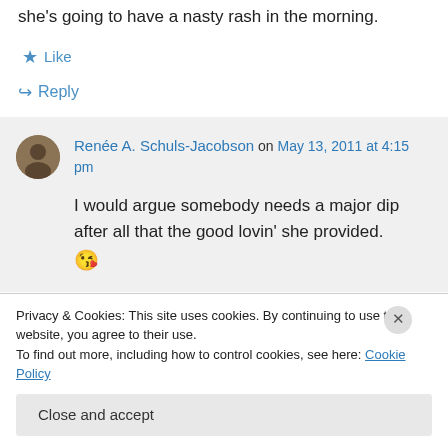she's going to have a nasty rash in the morning.
★ Like
↪ Reply
Renée A. Schuls-Jacobson on May 13, 2011 at 4:15 pm
I would argue somebody needs a major dip after all that the good lovin' she provided. 😘
Privacy & Cookies: This site uses cookies. By continuing to use this website, you agree to their use.
To find out more, including how to control cookies, see here: Cookie Policy
Close and accept